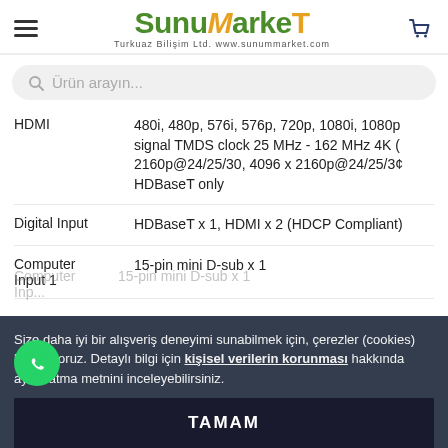[Figure (logo): SunuMarket logo with hamburger menu and cart icon. Turkuaz Bilişim Ltd. www.sunummarket.com]
Ürün arayın...
|  |  |
| --- | --- |
| HDMI | 480i, 480p, 576i, 576p, 720p, 1080i, 1080p signal TMDS clock 25 MHz - 162 MHz 4K ( 2160p@24/25/30, 4096 x 2160p@24/25/30 HDBaseT only |
| Digital Input | HDBaseT x 1, HDMI x 2 (HDCP Compliant) |
| Computer Input 1 | 15-pin mini D-sub x 1 |
| Computer Input 2 | 15-pin mini D-sub x 1 |
Size daha iyi bir alışveriş deneyimi sunabilmek için, çerezler (cookies) kullanıyoruz. Detaylı bilgi için kişisel verilerin korunması hakkında aydınlatma metnini inceleyebilirsiniz.
TAMAM
Output